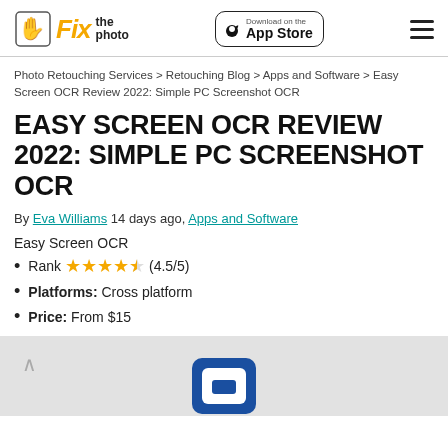Fix the photo | Download on the App Store
Photo Retouching Services > Retouching Blog > Apps and Software > Easy Screen OCR Review 2022: Simple PC Screenshot OCR
EASY SCREEN OCR REVIEW 2022: SIMPLE PC SCREENSHOT OCR
By Eva Williams 14 days ago, Apps and Software
Easy Screen OCR
Rank ★★★★½ (4.5/5)
Platforms: Cross platform
Price: From $15
[Figure (screenshot): Bottom portion showing app screenshot area with grey background and partial app icon visible]